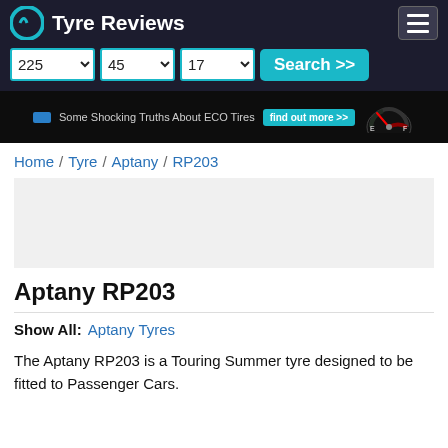Tyre Reviews
[Figure (screenshot): Navigation bar with logo, search dropdowns (225, 45, 17) and Search >> button]
[Figure (infographic): Advertisement banner: Some Shocking Truths About ECO Tires with find out more button and fuel gauge graphic]
Home / Tyre / Aptany / RP203
Aptany RP203
Show All: Aptany Tyres
The Aptany RP203 is a Touring Summer tyre designed to be fitted to Passenger Cars.